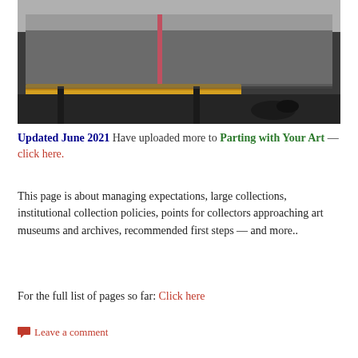[Figure (photo): Photo of art pieces being packed or moved, showing cardboard packaging, a large flat canvas or board, a yellow envelope or folder, and a black shoe visible on a dark floor.]
Updated June 2021  Have uploaded more to Parting with Your Art — click here.
This page is about managing expectations, large collections, institutional collection policies, points for collectors approaching art museums and archives, recommended first steps — and more..
For the full list of pages so far: Click here
Leave a comment